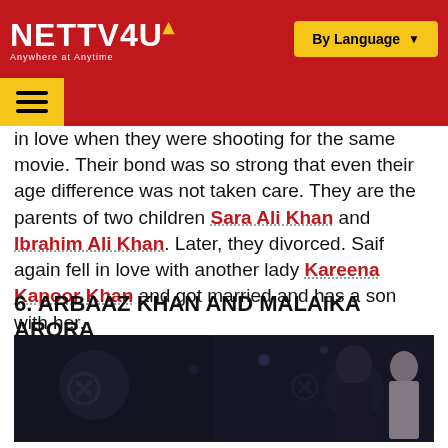NETTV4U — Anywhere at Anytime | By Language
in love when they were shooting for the same movie. Their bond was so strong that even their age difference was not taken care. They are the parents of two children Sara Ali Khan and Ibrahim Ali Khan. Later, they divorced. Saif again fell in love with another lady Kareena Kapoor Khan and got married and has a son with her.
6. ARBAAZ KHAN AND MALAIKA ARORA
...
[Figure (photo): Dark photo of Arbaaz Khan and Malaika Arora at an event, man in dark jacket, woman in white dress]